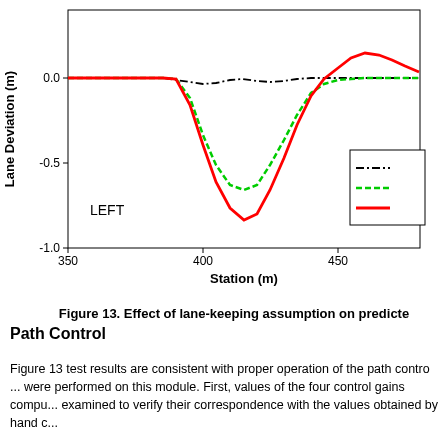[Figure (continuous-plot): Line chart showing lane deviation (m) vs station (m) from 350 to beyond 475. Three curves: black dash-dot line, green dashed line, and red solid line. All start near 0. Around station 390-400 the green dashed and red solid lines dip sharply to about -0.65 and -0.8 respectively at ~station 420, then recover. The black dash-dot dips slightly to about -0.1 then recovers. Red overshoots to ~+0.15 around station 465. Label 'LEFT' shown in lower-left of plot area.]
Figure 13. Effect of lane-keeping assumption on predicted lane deviation (continued)
Path Control
Figure 13 test results are consistent with proper operation of the path control module. Several tests were performed on this module. First, values of the four control gains computed by the module were examined to verify their correspondence with the values obtained by hand calculation.